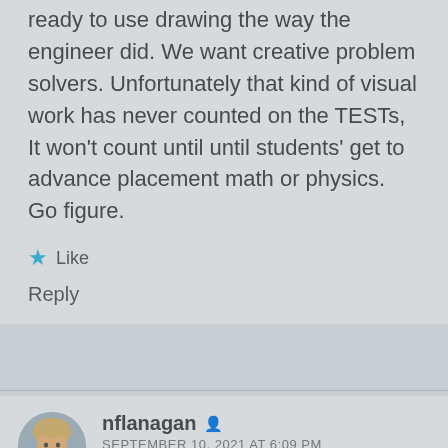ready to use drawing the way the engineer did. We want creative problem solvers. Unfortunately that kind of visual work has never counted on the TESTs, It won't count until until students' get to advance placement math or physics. Go figure.
Like
Reply
nflanagan
SEPTEMBER 10, 2021 AT 6:09 PM
Thank you for your long and thoughtful comment (and for